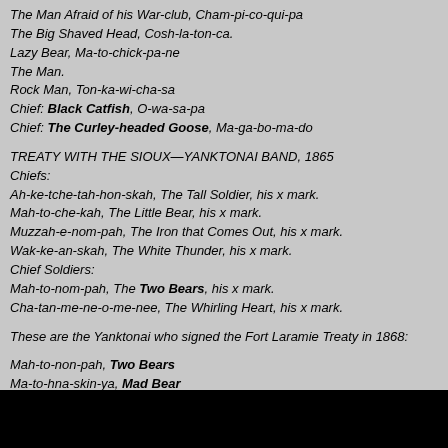The Man Afraid of his War-club, Cham-pi-co-qui-pa
The Big Shaved Head, Cosh-la-ton-ca.
Lazy Bear, Ma-to-chick-pa-ne
The Man.
Rock Man, Ton-ka-wi-cha-sa
Chief: Black Catfish, O-wa-sa-pa
Chief: The Curley-headed Goose, Ma-ga-bo-ma-do
TREATY WITH THE SIOUX—YANKTONAI BAND, 1865
Chiefs:
Ah-ke-tche-tah-hon-skah, The Tall Soldier, his x mark.
Mah-to-che-kah, The Little Bear, his x mark.
Muzzah-e-nom-pah, The Iron that Comes Out, his x mark.
Wak-ke-an-skah, The White Thunder, his x mark.
Chief Soldiers:
Mah-to-nom-pah, The Two Bears, his x mark.
Cha-tan-me-ne-o-me-nee, The Whirling Heart, his x mark.
These are the Yanktonai who signed the Fort Laramie Treaty in 1868:
Mah-to-non-pah, Two Bears
Ma-to-hna-skin-ya, Mad Bear
He-o-pu-za, Louzy
Ah-ke-che-tah-che-ca-dan, Little Soldier
Mah-to-e-tan-chan, Chief Bear